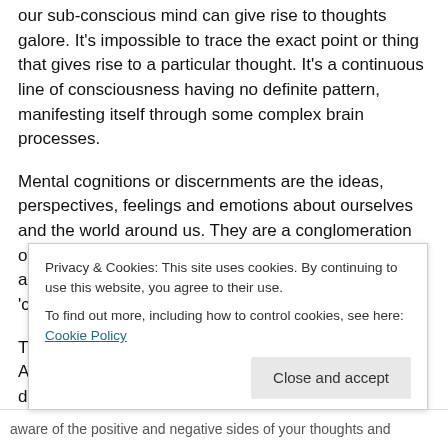our sub-conscious mind can give rise to thoughts galore. It's impossible to trace the exact point or thing that gives rise to a particular thought. It's a continuous line of consciousness having no definite pattern, manifesting itself through some complex brain processes.
Mental cognitions or discernments are the ideas, perspectives, feelings and emotions about ourselves and the world around us. They are a conglomeration of our views, the way we perceive things around us and they play a substantial role in building up our 'characters'.
Thoughts which we rear for years define our attitudes. A particular incident can trigger different thoughts in different individuals depending on their attitudes and point of views.
Privacy & Cookies: This site uses cookies. By continuing to use this website, you agree to their use.
To find out more, including how to control cookies, see here: Cookie Policy
aware of the positive and negative sides of your thoughts and